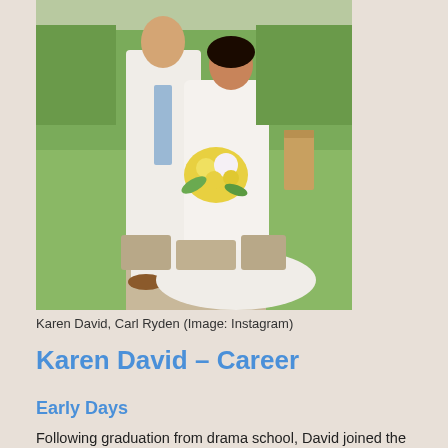[Figure (photo): Wedding photo of Karen David and Carl Ryden. A man in a white suit with a blue tie stands next to a woman in a white lace wedding dress holding yellow flowers. They are standing on a stone path outdoors with green bushes and a wooden chair in the background.]
Karen David, Carl Ryden (Image: Instagram)
Karen David – Career
Early Days
Following graduation from drama school, David joined the